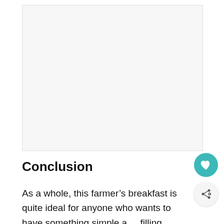[Figure (other): Large empty light gray image placeholder area]
Conclusion
As a whole, this farmer’s breakfast is quite ideal for anyone who wants to have something simple and filling.